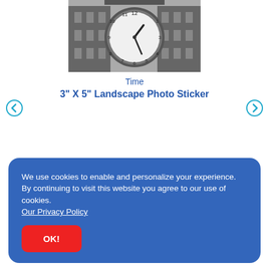[Figure (photo): Black and white photograph of a large outdoor clock on a building facade, viewed from below against a grey sky.]
Time
3" X 5" Landscape Photo Sticker
We use cookies to enable and personalize your experience. By continuing to visit this website you agree to our use of cookies. Our Privacy Policy
OK!